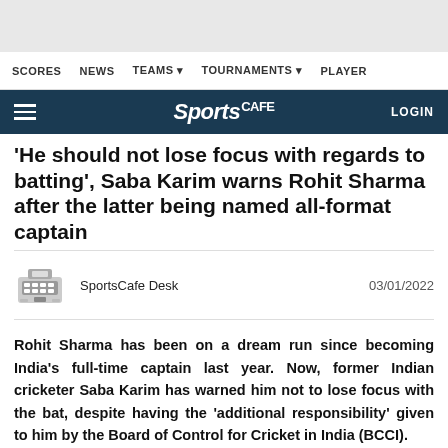SCORES  NEWS  TEAMS ▾  TOURNAMENTS ▾  PLAYER
Sports CAFE   LOGIN
'He should not lose focus with regards to batting', Saba Karim warns Rohit Sharma after the latter being named all-format captain
SportsCafe Desk   03/01/2022
Rohit Sharma has been on a dream run since becoming India's full-time captain last year. Now, former Indian cricketer Saba Karim has warned him not to lose focus with the bat, despite having the 'additional responsibility' given to him by the Board of Control for Cricket in India (BCCI).